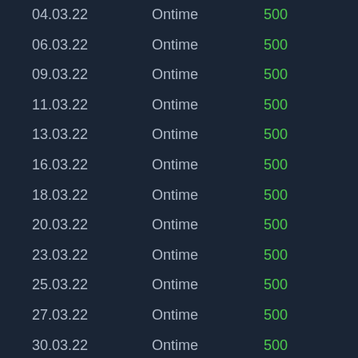| Date | Status | Value |
| --- | --- | --- |
| 04.03.22 | Ontime | 500 |
| 06.03.22 | Ontime | 500 |
| 09.03.22 | Ontime | 500 |
| 11.03.22 | Ontime | 500 |
| 13.03.22 | Ontime | 500 |
| 16.03.22 | Ontime | 500 |
| 18.03.22 | Ontime | 500 |
| 20.03.22 | Ontime | 500 |
| 23.03.22 | Ontime | 500 |
| 25.03.22 | Ontime | 500 |
| 27.03.22 | Ontime | 500 |
| 30.03.22 | Ontime | 500 |
| 01.04.22 | Ontime | 500 |
| 03.04.22 | Ontime | 500 |